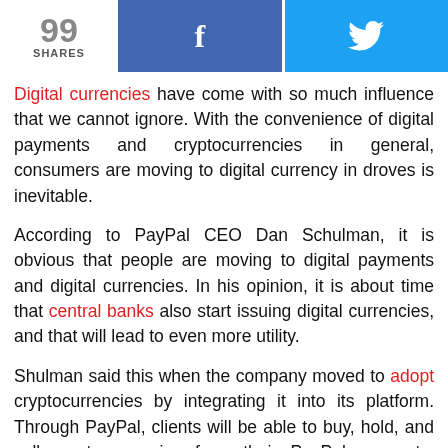99 SHARES | Facebook share | Twitter share
Digital currencies have come with so much influence that we cannot ignore. With the convenience of digital payments and cryptocurrencies in general, consumers are moving to digital currency in droves is inevitable.
According to PayPal CEO Dan Schulman, it is obvious that people are moving to digital payments and digital currencies. In his opinion, it is about time that central banks also start issuing digital currencies, and that will lead to even more utility.
Shulman said this when the company moved to adopt cryptocurrencies by integrating it into its platform. Through PayPal, clients will be able to buy, hold, and sell cryptocurrencies from their PayPal accounts. Clients will also be able to use digital currencies as a form of payment from its 26 million merchants in the network from early 2021.